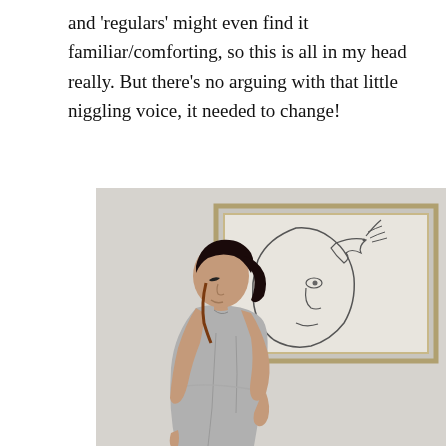and 'regulars' might even find it familiar/comforting, so this is all in my head really. But there's no arguing with that little niggling voice, it needed to change!
[Figure (photo): A woman with dark hair in a ponytail wearing a sleeveless grey dress, leaning forward and looking down. Behind her is a framed line-art drawing of a face with a bird.]